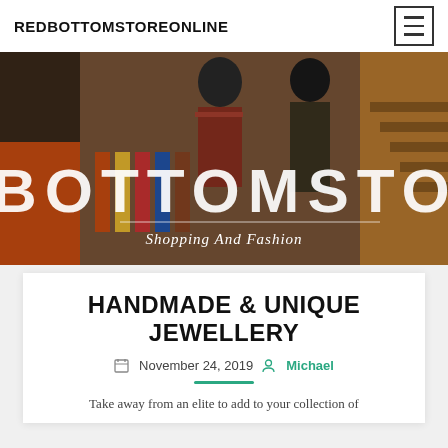REDBOTTOMSTOREONLINE
[Figure (photo): Hero banner showing a retail clothing store interior with mannequins wearing jackets and an overlay of large text 'BOTTOMSTONL' and subtitle 'Shopping And Fashion']
HANDMADE & UNIQUE JEWELLERY
November 24, 2019  Michael
Take away from an elite to add to your collection of